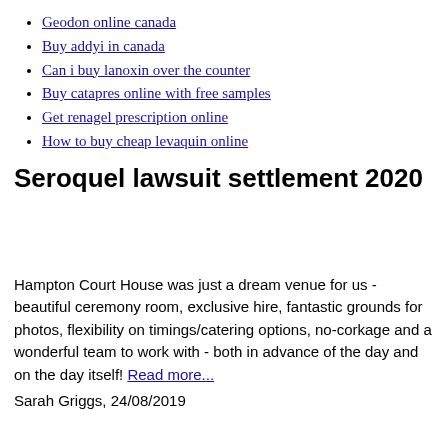Geodon online canada
Buy addyi in canada
Can i buy lanoxin over the counter
Buy catapres online with free samples
Get renagel prescription online
How to buy cheap levaquin online
Seroquel lawsuit settlement 2020
Hampton Court House was just a dream venue for us - beautiful ceremony room, exclusive hire, fantastic grounds for photos, flexibility on timings/catering options, no-corkage and a wonderful team to work with - both in advance of the day and on the day itself! Read more...
Sarah Griggs, 24/08/2019